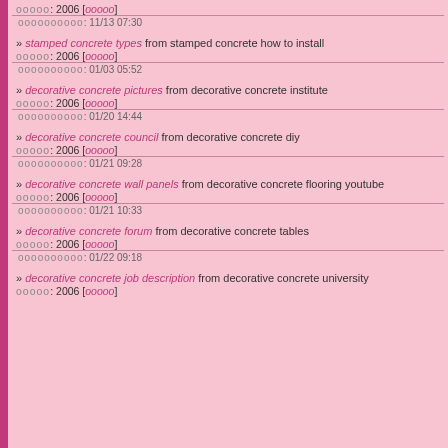ооооо: 2006 [ооооо]
оооооооооо: 11/13 07:30
» stamped concrete types from stamped concrete how to install
ооооо: 2006 [ооооо]
оооооооооо: 01/03 05:52
» decorative concrete pictures from decorative concrete institute
ооооо: 2006 [ооооо]
оооооооооо: 01/20 14:44
» decorative concrete council from decorative concrete diy
ооооо: 2006 [ооооо]
оооооооооо: 01/21 09:28
» decorative concrete wall panels from decorative concrete flooring youtube
ооооо: 2006 [ооооо]
оооооооооо: 01/21 10:33
» decorative concrete forum from decorative concrete tables
ооооо: 2006 [ооооо]
оооооооооо: 01/22 09:18
» decorative concrete job description from decorative concrete university
ооооо: 2006 [ооооо]